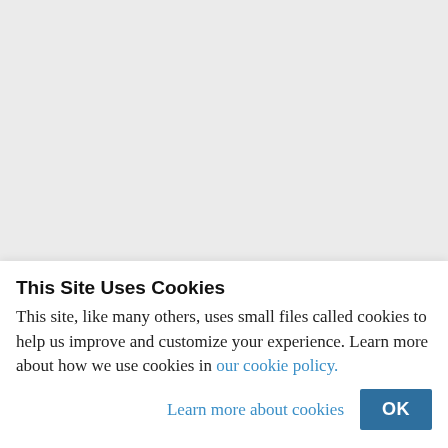[Figure (other): Large grey empty area at the top of the page, representing blank/greyed out content area]
TAGGED: Business  China  Economy  Politics
This Site Uses Cookies
This site, like many others, uses small files called cookies to help us improve and customize your experience. Learn more about how we use cookies in our cookie policy.
Learn more about cookies   OK